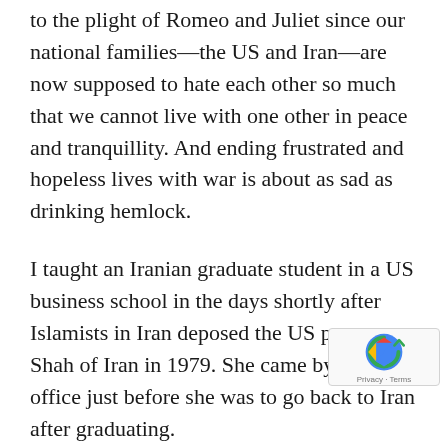to the plight of Romeo and Juliet since our national families—the US and Iran—are now supposed to hate each other so much that we cannot live with one other in peace and tranquillity. And ending frustrated and hopeless lives with war is about as sad as drinking hemlock.
I taught an Iranian graduate student in a US business school in the days shortly after Islamists in Iran deposed the US puppet Shah of Iran in 1979. She came by my office just before she was to go back to Iran after graduating.
We talked about an hour, covering economic